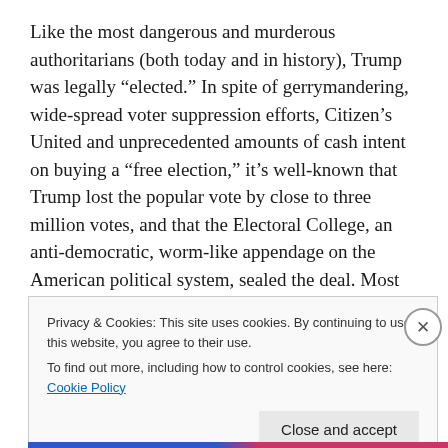Like the most dangerous and murderous authoritarians (both today and in history), Trump was legally “elected.” In spite of gerrymandering, wide-spread voter suppression efforts, Citizen’s United and unprecedented amounts of cash intent on buying a “free election,” it’s well-known that Trump lost the popular vote by close to three million votes, and that the Electoral College, an anti-democratic, worm-like appendage on the American political system, sealed the deal. Most people don’t know that Trump garnered a meager 25.3 percent of all eligible voters.
Privacy & Cookies: This site uses cookies. By continuing to use this website, you agree to their use.
To find out more, including how to control cookies, see here: Cookie Policy